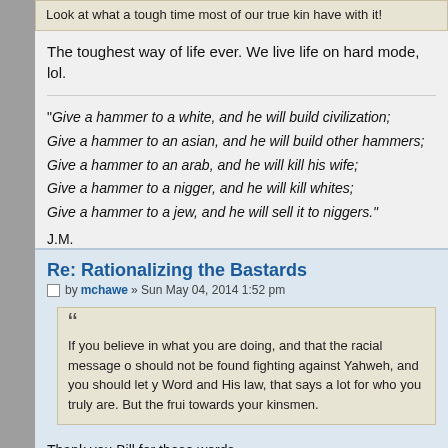Look at what a tough time most of our true kin have with it!
The toughest way of life ever. We live life on hard mode, lol.
"Give a hammer to a white, and he will build civilization;
Give a hammer to an asian, and he will build other hammers;
Give a hammer to an arab, and he will kill his wife;
Give a hammer to a nigger, and he will kill whites;
Give a hammer to a jew, and he will sell it to niggers."

J.M.
Re: Rationalizing the Bastards
by mchawe » Sun May 04, 2014 1:52 pm
If you believe in what you are doing, and that the racial message c... should not be found fighting against Yahweh, and you should let y... Word and His law, that says a lot for who you truly are. But the frui... towards your kinsmen.
Thank you Bill for those words.